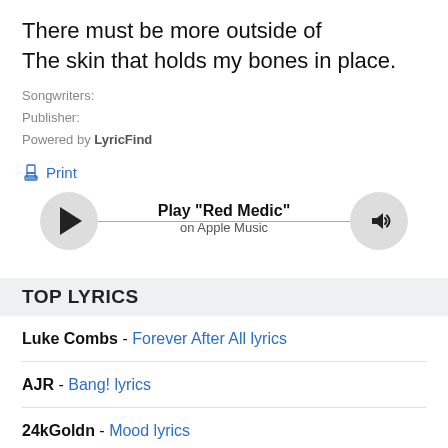There must be more outside of
The skin that holds my bones in place.
Songwriters:
Publisher:
Powered by LyricFind
Print
[Figure (other): Music player bar with play button, track title 'Play "Red Medic"', subtitle 'on Apple Music', and volume button]
TOP LYRICS
Luke Combs - Forever After All lyrics
AJR - Bang! lyrics
24kGoldn - Mood lyrics